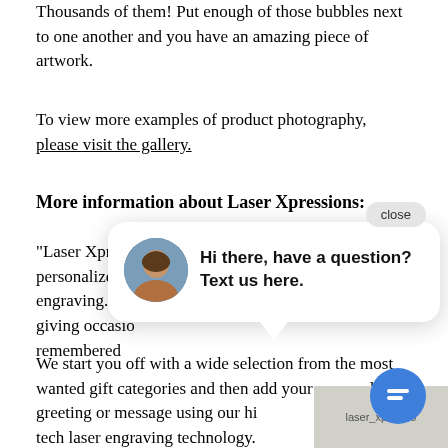Thousands of them! Put enough of those bubbles next to one another and you have an amazing piece of artwork.
To view more examples of product photography, please visit the gallery.
More information about Laser Xpressions:
“Laser Xpressions is your source for quality personalized gifts utilizing state-of-the-art laser engraving. Pe[rsonalized gifts for all gift-] giving occasio[ns.] Your gift will be remembered[.]
[Figure (photo): Chat popup with close button, avatar of a woman, and message: Hi there, have a question? Text us here.]
We start you off with a wide selection from the most wanted gift categories and then add your personalized greeting or message using our high tech laser engraving technology.
[Figure (photo): Partially visible image placeholder labeled laser_xpressio]